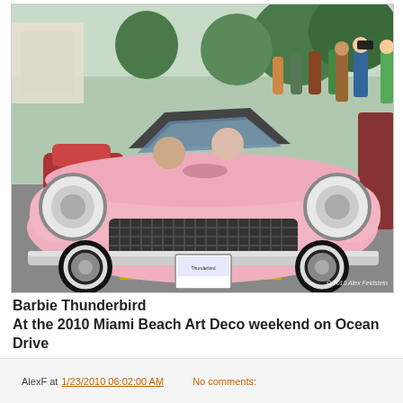[Figure (photo): A pink classic Ford Thunderbird convertible (1956 era) at the 2010 Miami Beach Art Deco weekend on Ocean Drive. Two people are seated in the car. Crowds of spectators and photographers line the street in the background. Trees and buildings visible. License plate reads 'Thunderbird'. Copyright watermark: © 2010 Alex Feldstein.]
Barbie Thunderbird
At the 2010 Miami Beach Art Deco weekend on Ocean Drive
AlexF at 1/23/2010 06:02:00 AM   No comments: